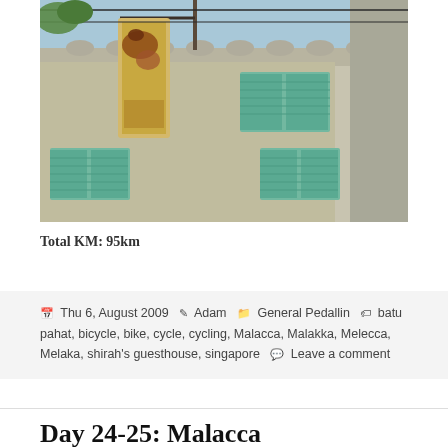[Figure (photo): Photograph of a weathered, colonial-style building facade with ornate decorations, rusty old signage hanging from a pole, and teal/turquoise window shutters. The building is in a state of decay with peeling paint.]
Total KM: 95km
Thu 6, August 2009  Adam  General Pedallin  batu pahat, bicycle, bike, cycle, cycling, Malacca, Malakka, Melacca, Melaka, shirah's guesthouse, singapore  Leave a comment
Day 24-25: Malacca